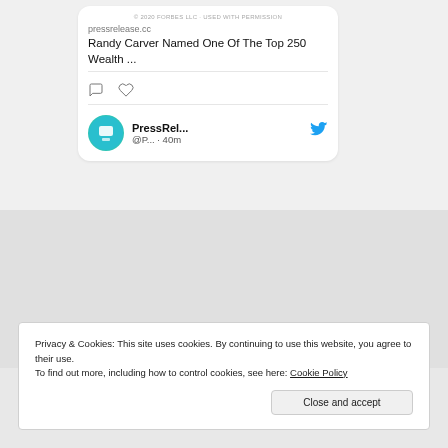[Figure (screenshot): Social media tweet card showing pressrelease.cc link with title 'Randy Carver Named One Of The Top 250 Wealth ...' with comment and like icons, followed by a second tweet card with PressRel... account @P... · 40m and Twitter bird icon]
Privacy & Cookies: This site uses cookies. By continuing to use this website, you agree to their use.
To find out more, including how to control cookies, see here: Cookie Policy
Close and accept